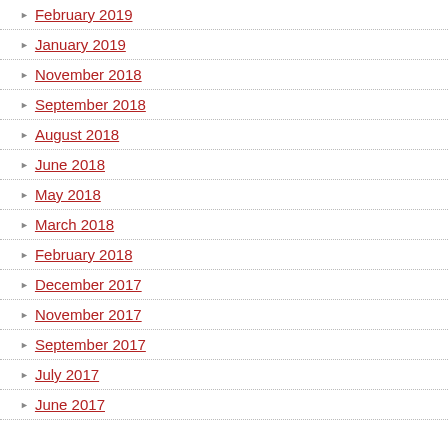February 2019
January 2019
November 2018
September 2018
August 2018
June 2018
May 2018
March 2018
February 2018
December 2017
November 2017
September 2017
July 2017
June 2017